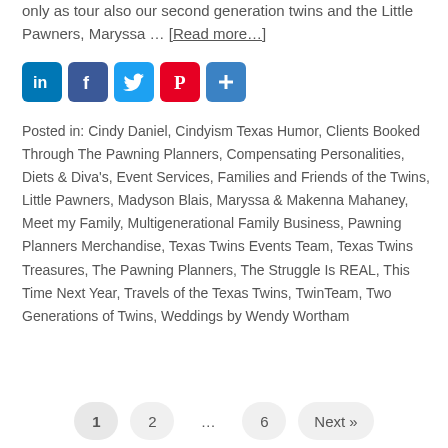only as tour also our second generation twins and the Little Pawners, Maryssa … [Read more…]
[Figure (infographic): Social media share buttons: LinkedIn, Facebook, Twitter, Pinterest, and a + (more) button]
Posted in: Cindy Daniel, Cindyism Texas Humor, Clients Booked Through The Pawning Planners, Compensating Personalities, Diets & Diva's, Event Services, Families and Friends of the Twins, Little Pawners, Madyson Blais, Maryssa & Makenna Mahaney, Meet my Family, Multigenerational Family Business, Pawning Planners Merchandise, Texas Twins Events Team, Texas Twins Treasures, The Pawning Planners, The Struggle Is REAL, This Time Next Year, Travels of the Texas Twins, TwinTeam, Two Generations of Twins, Weddings by Wendy Wortham
1  2  …  6  Next »